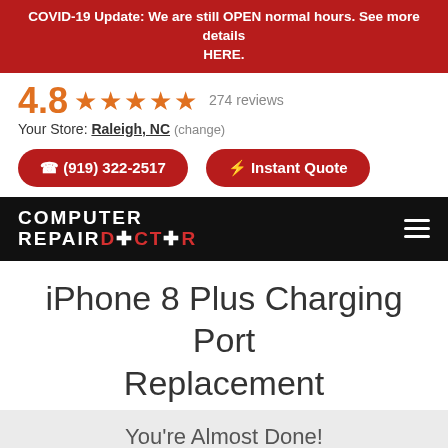COVID-19 Update: We are still OPEN normal hours. See more details HERE.
4.8 ★★★★★ 274 reviews
Your Store: Raleigh, NC (change)
(919) 322-2517   ⚡ Instant Quote
[Figure (logo): Computer Repair Doctor logo with hamburger menu on black nav bar]
iPhone 8 Plus Charging Port Replacement
You're Almost Done!
Schedule Dropoff
Pay in Store